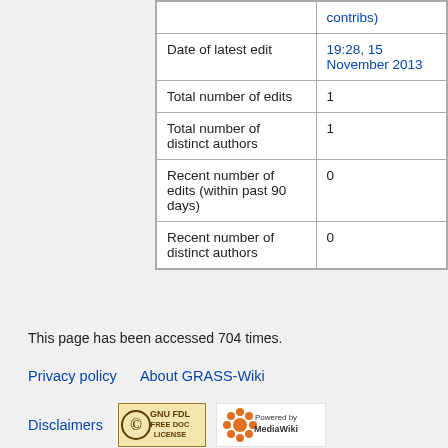|  | contribs) |
| Date of latest edit | 19:28, 15 November 2013 |
| Total number of edits | 1 |
| Total number of distinct authors | 1 |
| Recent number of edits (within past 90 days) | 0 |
| Recent number of distinct authors | 0 |
This page has been accessed 704 times.
Privacy policy   About GRASS-Wiki
Disclaimers
[Figure (logo): GNU FDL Free Doc License badge]
[Figure (logo): Powered by MediaWiki badge]